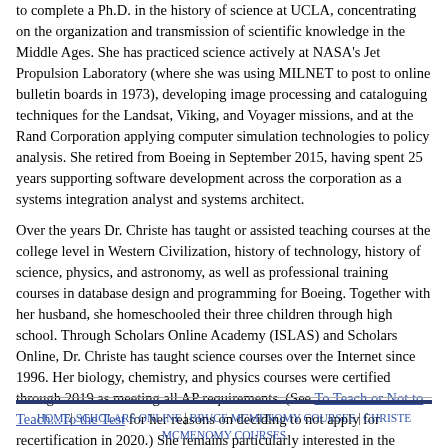to complete a Ph.D. in the history of science at UCLA, concentrating on the organization and transmission of scientific knowledge in the Middle Ages. She has practiced science actively at NASA's Jet Propulsion Laboratory (where she was using MILNET to post to online bulletin boards in 1973), developing image processing and cataloguing techniques for the Landsat, Viking, and Voyager missions, and at the Rand Corporation applying computer simulation technologies to policy analysis. She retired from Boeing in September 2015, having spent 25 years supporting software development across the corporation as a systems integration analyst and systems architect.
Over the years Dr. Christe has taught or assisted teaching courses at the college level in Western Civilization, history of technology, history of science, physics, and astronomy, as well as professional training courses in database design and programming for Boeing. Together with her husband, she homeschooled their three children through high school. Through Scholars Online Academy (ISLAS) and Scholars Online, Dr. Christe has taught science courses over the Internet since 1996. Her biology, chemistry, and physics courses were certified through 2019 as meeting all AP requirements. (See To Teach or Not to Teach...To the Test for her reasons on deciding to not apply for recertification in 2020.) She remains particularly interested in the history of science and in teaching science within the context of the liberal arts, and presented a paper at the 2014 American Classical League Institute on using Cicero's translation of Aratus' Phaenomena in intermediate Latin courses as an example of scientific literacy in the ancient world.
HOME| SCHOLARS ONLINE | BRUCE MCMENOMY COURSES | CHRISTE MCMENOMY COURSES